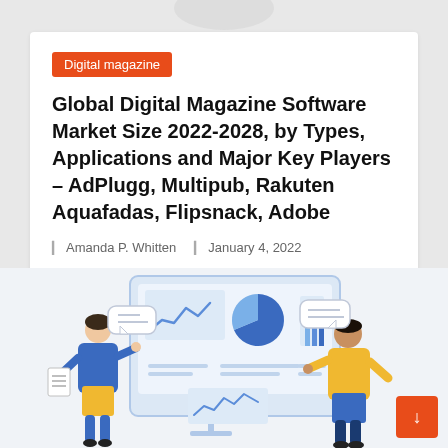Digital magazine
Global Digital Magazine Software Market Size 2022-2028, by Types, Applications and Major Key Players – AdPlugg, Multipub, Rakuten Aquafadas, Flipsnack, Adobe
Amanda P. Whitten   January 4, 2022
[Figure (illustration): Two people (one in blue jacket, one in yellow jacket) presenting and pointing at a large monitor screen showing charts including a line chart, pie chart, and bar chart. Chat/speech bubbles visible on either side.]